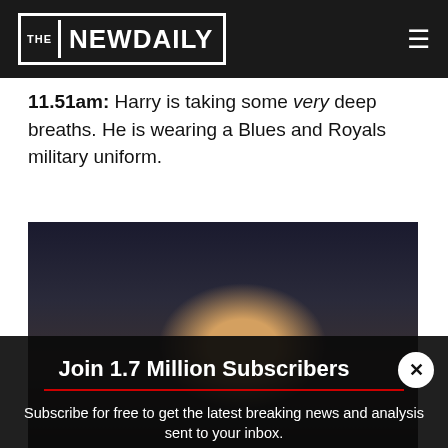THE NEW DAILY
11.51am: Harry is taking some very deep breaths. He is wearing a Blues and Royals military uniform.
[Figure (photo): Photo of Prince Harry at his wedding ceremony, wearing a Blues and Royals military uniform, seen from the shoulders up]
Join 1.7 Million Subscribers
Subscribe for free to get the latest breaking news and analysis sent to your inbox.
Enter your email address
Your postcode
Subscribe